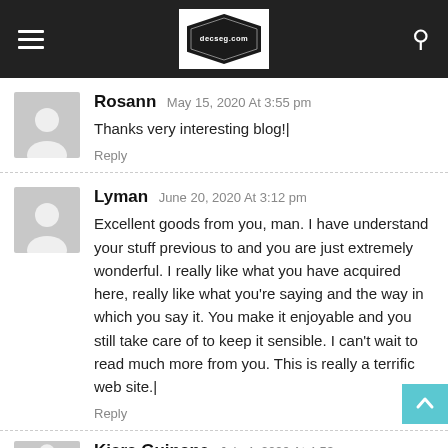decseg.com
Rosann May 15, 2020 At 3:55 pm
Thanks very interesting blog!|
Reply
Lyman June 20, 2020 At 3:12 pm
Excellent goods from you, man. I have understand your stuff previous to and you are just extremely wonderful. I really like what you have acquired here, really like what you're saying and the way in which you say it. You make it enjoyable and you still take care of to keep it sensible. I can't wait to read much more from you. This is really a terrific web site.|
Reply
Kiara Guinane July 4, 2020 At 4:53 pm